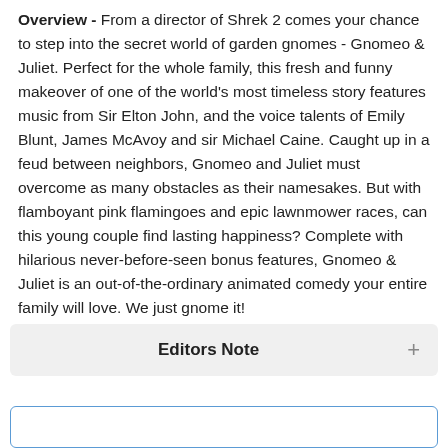Overview - From a director of Shrek 2 comes your chance to step into the secret world of garden gnomes - Gnomeo & Juliet. Perfect for the whole family, this fresh and funny makeover of one of the world's most timeless story features music from Sir Elton John, and the voice talents of Emily Blunt, James McAvoy and sir Michael Caine. Caught up in a feud between neighbors, Gnomeo and Juliet must overcome as many obstacles as their namesakes. But with flamboyant pink flamingoes and epic lawnmower races, can this young couple find lasting happiness? Complete with hilarious never-before-seen bonus features, Gnomeo & Juliet is an out-of-the-ordinary animated comedy your entire family will love. We just gnome it!
Editors Note